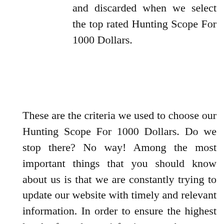and discarded when we select the top rated Hunting Scope For 1000 Dollars.
These are the criteria we used to choose our Hunting Scope For 1000 Dollars. Do we stop there? No way! Among the most important things that you should know about us is that we are constantly trying to update our website with timely and relevant information. In order to ensure the highest level of reader satisfaction, we have one more layer of filtration. This is you, the reader. If you find any of the Hunting Scope For 1000 Dollars on this page incorrect, irrelevant, out of date, or not up to date, please let us know. Your feedback is always welcome and we'll try